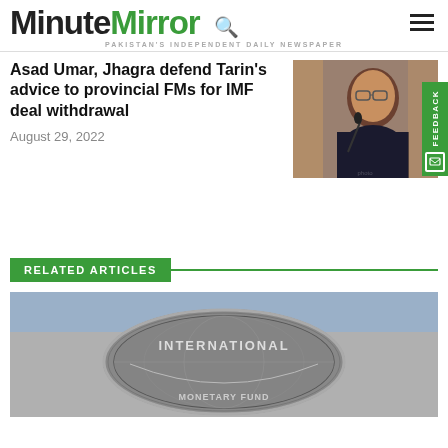MinuteMirror — PAKISTAN'S INDEPENDENT DAILY NEWSPAPER
Asad Umar, Jhagra defend Tarin's advice to provincial FMs for IMF deal withdrawal
August 29, 2022
[Figure (photo): Man speaking at microphone, wearing glasses and dark shirt]
RELATED ARTICLES
[Figure (photo): IMF International Monetary Fund building sign close-up]